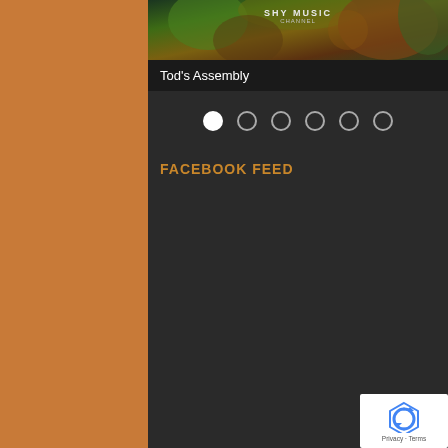[Figure (screenshot): Mobile website screenshot showing a dark-themed music page for Tod's Assembly. Top banner has a colorful abstract/nature image with 'SHY MUSIC' text overlay. Below is a black bar with 'Tod's Assembly' title. Navigation dots row shows 6 circles with the first filled. Below that is a 'FACEBOOK FEED' section header in gold/amber color. A reCAPTCHA badge appears in the bottom-right corner. The whole phone interface sits on an orange/brown background.]
Tod's Assembly
FACEBOOK FEED
Privacy · Terms